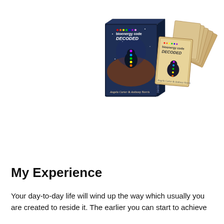[Figure (illustration): Product image of 'bioenergy code DECODED' showing a box set and multiple card/booklet items fanned out. The box shows a meditating figure with chakra points. The cards/booklets also show 'bioenergy code DECODED' with a similar meditating figure illustration. Items have a dark blue box and tan/parchment colored cards.]
My Experience
Your day-to-day life will wind up the way which usually you are created to reside it. The earlier you can start to achieve